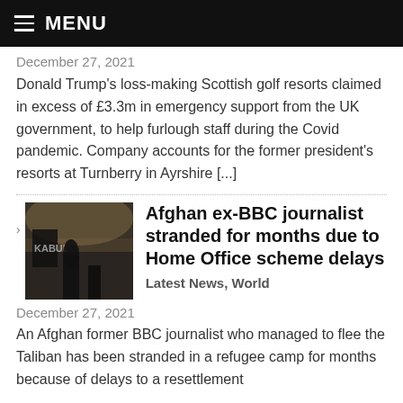MENU
December 27, 2021
Donald Trump's loss-making Scottish golf resorts claimed in excess of £3.3m in emergency support from the UK government, to help furlough staff during the Covid pandemic. Company accounts for the former president's resorts at Turnberry in Ayrshire [...]
Afghan ex-BBC journalist stranded for months due to Home Office scheme delays
Latest News, World
December 27, 2021
An Afghan former BBC journalist who managed to flee the Taliban has been stranded in a refugee camp for months because of delays to a resettlement